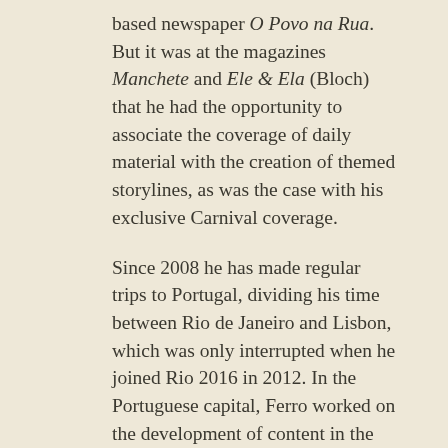based newspaper O Povo na Rua. But it was at the magazines Manchete and Ele & Ela (Bloch) that he had the opportunity to associate the coverage of daily material with the creation of themed storylines, as was the case with his exclusive Carnival coverage.
Since 2008 he has made regular trips to Portugal, dividing his time between Rio de Janeiro and Lisbon, which was only interrupted when he joined Rio 2016 in 2012. In the Portuguese capital, Ferro worked on the development of content in the fashion area, including reports and shoots for the Cofina group. Over the years, including activities in Brazil and abroad, he has specialized in extensive coverage and mega projects. He has also gained experience in institutional and commercial works of a corporate nature which were aimed at private companies.
He has the latest, multi-use equipment, which